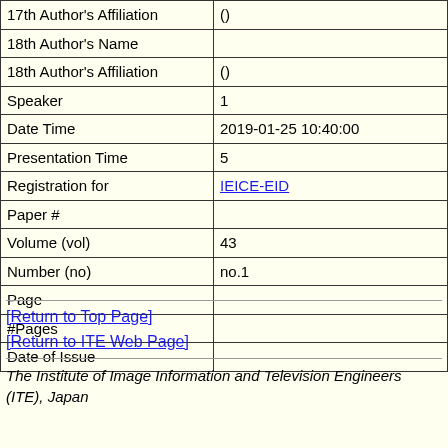| Field | Value |
| --- | --- |
| 17th Author's Affiliation | () |
| 18th Author's Name |  |
| 18th Author's Affiliation | () |
| Speaker | 1 |
| Date Time | 2019-01-25 10:40:00 |
| Presentation Time | 5 |
| Registration for | IEICE-EID |
| Paper # |  |
| Volume (vol) | 43 |
| Number (no) | no.1 |
| Page |  |
| #Pages |  |
| Date of Issue |  |
[Return to Top Page]
[Return to ITE Web Page]
The Institute of Image Information and Television Engineers (ITE), Japan